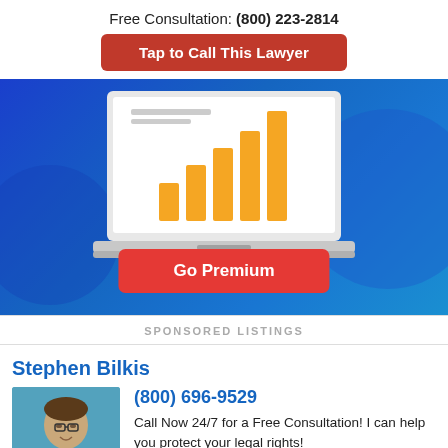Free Consultation: (800) 223-2814
Tap to Call This Lawyer
[Figure (illustration): Laptop illustration with rising bar chart on screen displayed over a blue gradient banner background, with a 'Go Premium' red button overlay]
Go Premium
SPONSORED LISTINGS
Stephen Bilkis
[Figure (photo): Headshot photo of Stephen Bilkis, a middle-aged man with glasses and short hair, wearing a dark suit jacket, with a blue background]
(800) 696-9529
Call Now 24/7 for a Free Consultation! I can help you protect your legal rights!